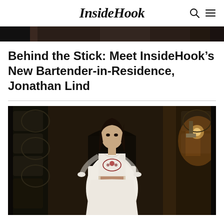InsideHook
[Figure (photo): Top strip of a dark interior bar scene, partially cropped]
Behind the Stick: Meet InsideHook’s New Bartender-in-Residence, Jonathan Lind
[Figure (photo): A woman in a white embroidered dress standing in a dark ornate hallway with warm ambient lighting]